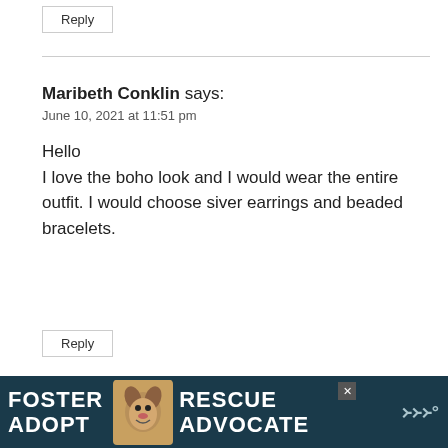Reply
Maribeth Conklin says:
June 10, 2021 at 11:51 pm
Hello
I love the boho look and I would wear the entire outfit. I would choose siver earrings and beaded bracelets.
Reply
[Figure (other): Advertisement banner: dark teal background with text FOSTER ADOPT in white bold, a photo of a beagle dog in the center, and RESCUE ADVOCATE text on the right. Close button and logo visible.]